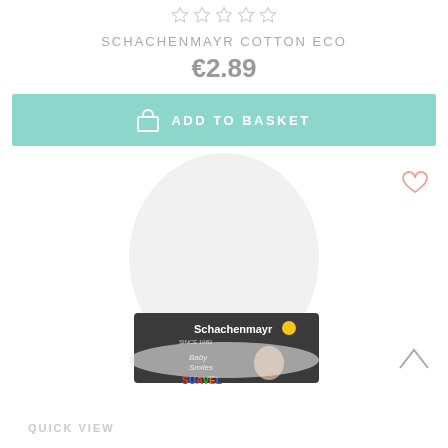[Figure (other): Five empty star rating icons in a row]
SCHACHENMAYR COTTON ECO
€2.89
ADD TO BASKET
[Figure (photo): A white ball of yarn/thread labeled Schachenmayr Baby Smiles SUAVEL, showing label with brand logo and baby face]
QUICK VIEW